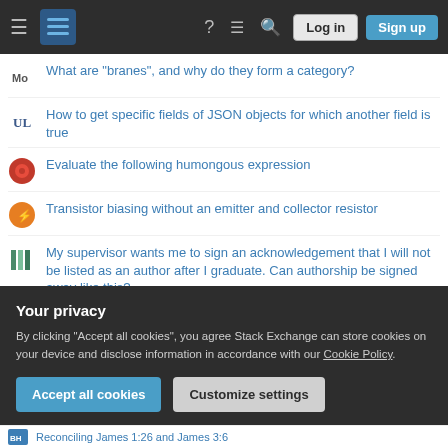Stack Exchange navigation bar with Log in and Sign up buttons
What are "branes", and why do they form a category?
How to get specific fields of JSON objects for which another field is true
Evaluate the following humongous expression
Transistor biasing without an emitter and collector resistor
My supervisor wants me to sign an acknowledgement that I will not be listed as an author after I graduate. Can authorship be signed away like this?
Is the expression 'I totally/completely/absolutely don't understand' natural?
Blank 2.2 KB sized PNG costs 2.1 MB in Unity? What does this represent? What to do?
Your privacy
By clicking "Accept all cookies", you agree Stack Exchange can store cookies on your device and disclose information in accordance with our Cookie Policy.
Accept all cookies   Customize settings
Reconciling James 1:26 and James 3:6